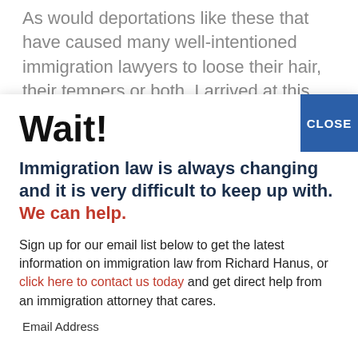As would deportations like these that have caused many well-intentioned immigration lawyers to loose their hair, their tempers or both. I arrived at this conclusion by mid January, 2001, when consultation after consultation was filled with me explaining over and
Wait!
Immigration law is always changing and it is very difficult to keep up with. We can help.
Sign up for our email list below to get the latest information on immigration law from Richard Hanus, or click here to contact us today and get direct help from an immigration attorney that cares.
Email Address